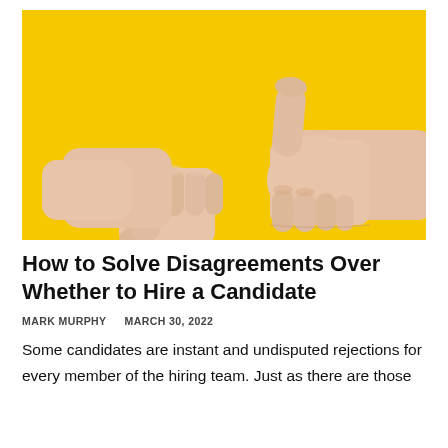[Figure (photo): A photo of two hands against a yellow background — one hand giving a thumbs down on the left, and one hand giving a thumbs up on the right.]
How to Solve Disagreements Over Whether to Hire a Candidate
MARK MURPHY    MARCH 30, 2022
Some candidates are instant and undisputed rejections for every member of the hiring team. Just as there are those who are undisputed top choices.